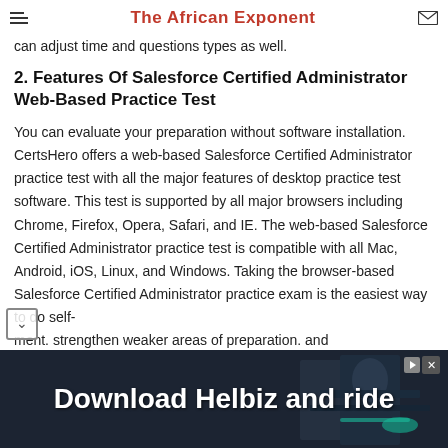The African Exponent
can adjust time and questions types as well.
2. Features Of Salesforce Certified Administrator Web-Based Practice Test
You can evaluate your preparation without software installation. CertsHero offers a web-based Salesforce Certified Administrator practice test with all the major features of desktop practice test software. This test is supported by all major browsers including Chrome, Firefox, Opera, Safari, and IE. The web-based Salesforce Certified Administrator practice test is compatible with all Mac, Android, iOS, Linux, and Windows. Taking the browser-based Salesforce Certified Administrator practice exam is the easiest way to do self-ment. strengthen weaker areas of preparation. and
[Figure (photo): Advertisement banner: Download Helbiz and ride — dark background with person on scooter/bike, white bold text, close/arrow buttons in top right]